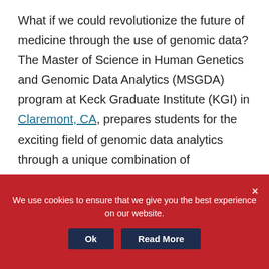What if we could revolutionize the future of medicine through the use of genomic data? The Master of Science in Human Genetics and Genomic Data Analytics (MSGDA) program at Keck Graduate Institute (KGI) in Claremont, CA, prepares students for the exciting field of genomic data analytics through a unique combination of foundational coursework in human genetics, cutting-edge courses in the applied life sciences, and an innovative human genomics curriculum. This unique program gives students an opportunity to work side-by-side with future genetic
We use cookies to ensure that we give you the best experience on our website.
Ok | Read More